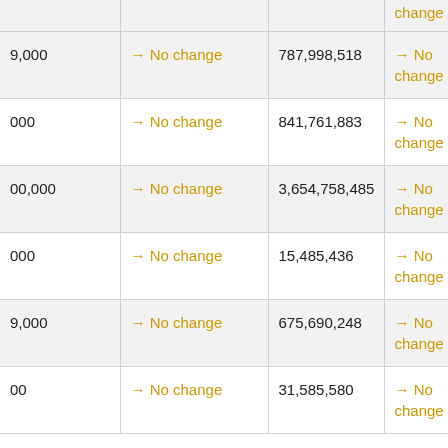| [col1] | [col2] | [col3] | change |
| --- | --- | --- | --- |
| [...]9,000 | → No change | 787,998,518 | → No change |
| [...]000 | → No change | 841,761,883 | → No change |
| [...]00,000 | → No change | 3,654,758,485 | → No change |
| [...]000 | → No change | 15,485,436 | → No change |
| [...]9,000 | → No change | 675,690,248 | → No change |
| [...]00 | → No change | 31,585,580 | → No change |